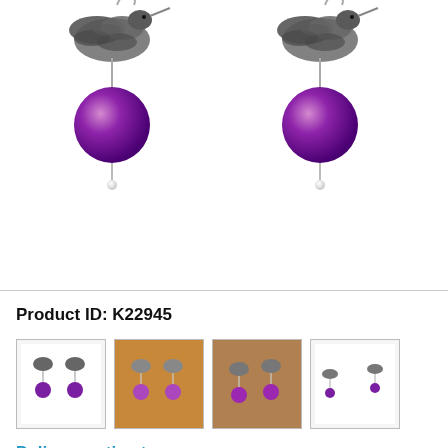[Figure (photo): Close-up product photo of two silver hummingbird earrings with purple amethyst beads dangling below the bird charms, shown on a white background]
Product ID: K22945
[Figure (photo): Four thumbnail images of the hummingbird amethyst earrings from different angles]
Delivery estimate